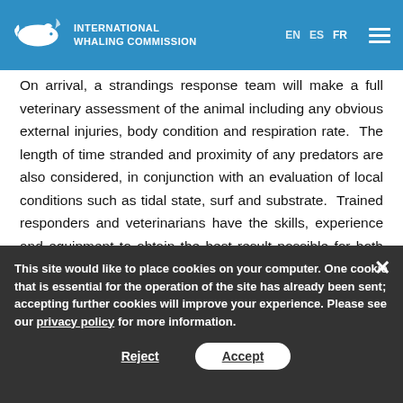INTERNATIONAL WHALING COMMISSION
On arrival, a strandings response team will make a full veterinary assessment of the animal including any obvious external injuries, body condition and respiration rate. The length of time stranded and proximity of any predators are also considered, in conjunction with an evaluation of local conditions such as tidal state, surf and substrate. Trained responders and veterinarians have the skills, experience and equipment to obtain the best result possible for both human safety and animal welfare.
This site would like to place cookies on your computer. One cookie that is essential for the operation of the site has already been sent; accepting further cookies will improve your experience. Please see our privacy policy for more information.